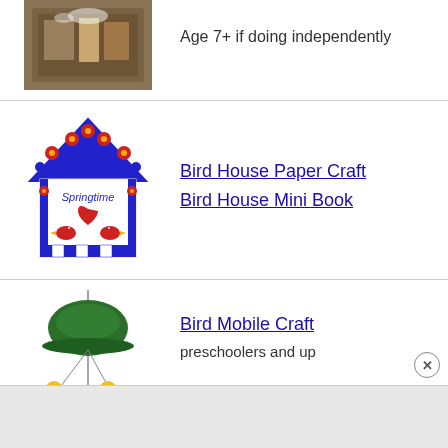[Figure (photo): Photo of a wooden box craft with materials inside]
Age 7+ if doing independently
[Figure (illustration): Colorful springtime birdhouse paper craft illustration with blue and red decorations, flowers, birds, and heart]
Bird House Paper Craft
Bird House Mini Book
[Figure (photo): Photo of a bird mobile craft with a green dome and hanging yellow chick figures]
Bird Mobile Craft
preschoolers and up